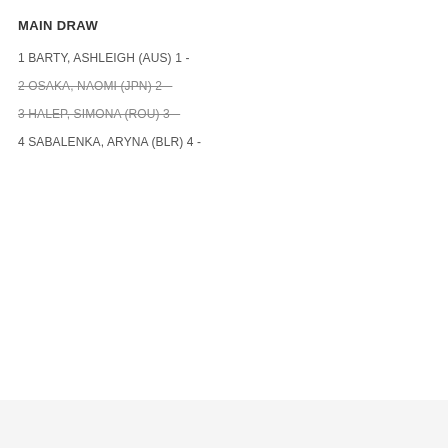MAIN DRAW
1 BARTY, ASHLEIGH (AUS) 1 -
2 OSAKA, NAOMI (JPN) 2 –
3 HALEP, SIMONA (ROU) 3 –
4 SABALENKA, ARYNA (BLR) 4 -